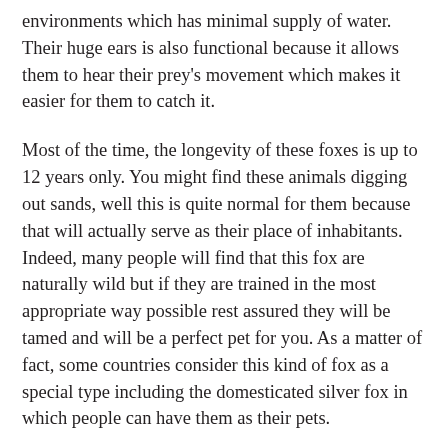environments which has minimal supply of water. Their huge ears is also functional because it allows them to hear their prey's movement which makes it easier for them to catch it.
Most of the time, the longevity of these foxes is up to 12 years only. You might find these animals digging out sands, well this is quite normal for them because that will actually serve as their place of inhabitants. Indeed, many people will find that this fox are naturally wild but if they are trained in the most appropriate way possible rest assured they will be tamed and will be a perfect pet for you. As a matter of fact, some countries consider this kind of fox as a special type including the domesticated silver fox in which people can have them as their pets.
As mentioned earlier the fennec fox are wild in nature, Undeniably lots of people consider them as animals